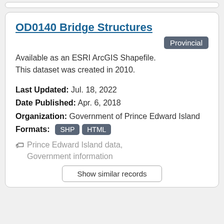OD0140 Bridge Structures
Provincial
Available as an ESRI ArcGIS Shapefile. This dataset was created in 2010.
Last Updated: Jul. 18, 2022
Date Published: Apr. 6, 2018
Organization: Government of Prince Edward Island
Formats: SHP HTML
Prince Edward Island data, Government information
Show similar records